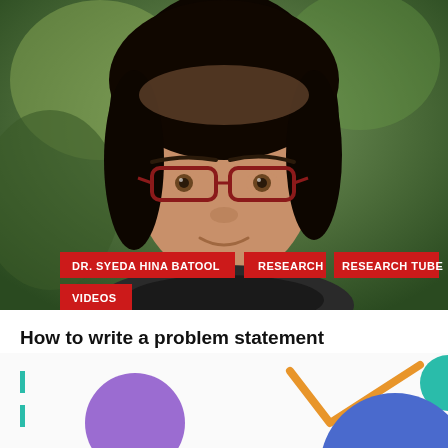[Figure (photo): Portrait photo of Dr. Syeda Hina Batool, a woman with red-framed glasses and dark hair, against a green blurred background. Red tag labels overlay the lower portion of the photo.]
How to write a problem statement
January 14, 2021 / Admin
This video tells important parts of a problem statement Subtitle/SRT Hello viewers. Writing problem statement for...
[Figure (illustration): Decorative bottom section with teal vertical lines, purple circle, orange checkmark/arrow shape, teal semi-circle, and large blue circle partially visible]